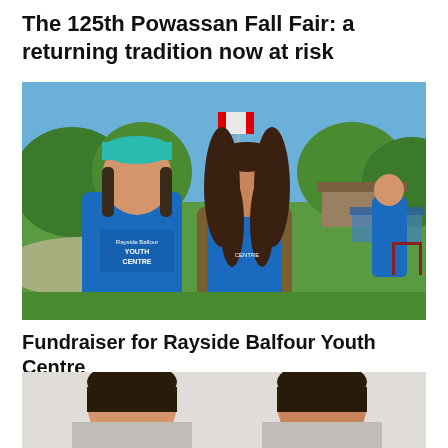The 125th Powassan Fall Fair: a returning tradition now at risk
[Figure (photo): Two young people wearing blue 'Rayside Balfour Youth Centre' t-shirts standing outdoors on a sunny day at the Powassan Fall Fair, with green grass, trees, a flagpole with a Canadian flag, and a tent in the background.]
Fundraiser for Rayside Balfour Youth Centre
[Figure (photo): Two people shown from the shoulders up, partially cropped, appearing to be headshot-style photos against a light background.]